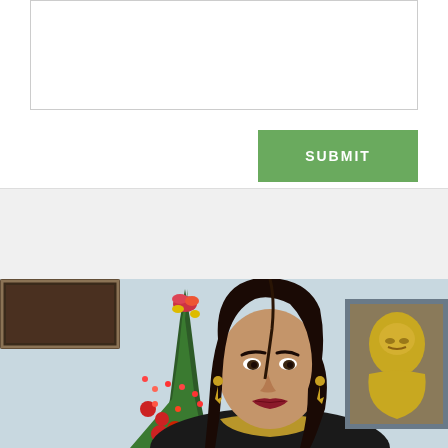[Figure (other): Web form textarea input box with resize handle in bottom-right corner]
[Figure (other): Green Submit button with white uppercase text 'SUBMIT']
[Figure (photo): Photo of a woman with dark hair and dark lipstick, smiling, wearing gold earrings, standing in front of a decorated Christmas tree with red ornaments and flowers, a framed painting on the left wall, and a golden Buddha statue painting on the right background. The scene has warm holiday decorations.]